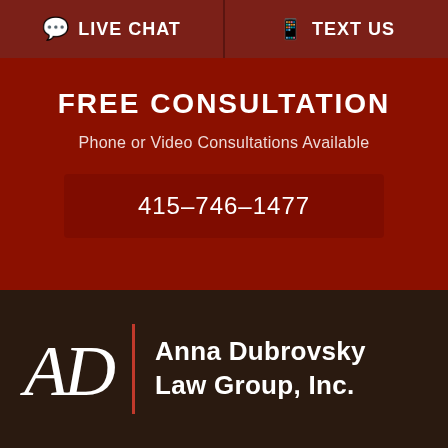💬 LIVE CHAT   🗎 TEXT US
FREE CONSULTATION
Phone or Video Consultations Available
415-746-1477
[Figure (logo): Anna Dubrovsky Law Group, Inc. logo with stylized AD monogram, red vertical divider, and firm name in white text on dark brown background]